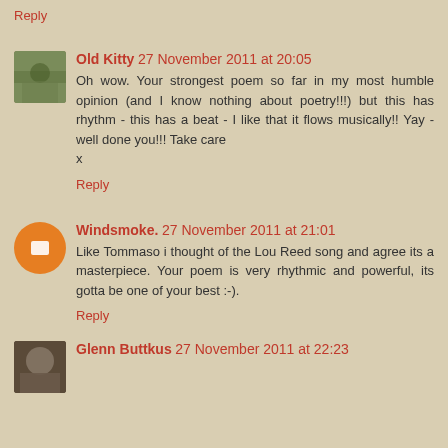Reply
Old Kitty 27 November 2011 at 20:05
Oh wow. Your strongest poem so far in my most humble opinion (and I know nothing about poetry!!!) but this has rhythm - this has a beat - I like that it flows musically!! Yay - well done you!!! Take care
x
Reply
Windsmoke. 27 November 2011 at 21:01
Like Tommaso i thought of the Lou Reed song and agree its a masterpiece. Your poem is very rhythmic and powerful, its gotta be one of your best :-).
Reply
Glenn Buttkus 27 November 2011 at 22:23